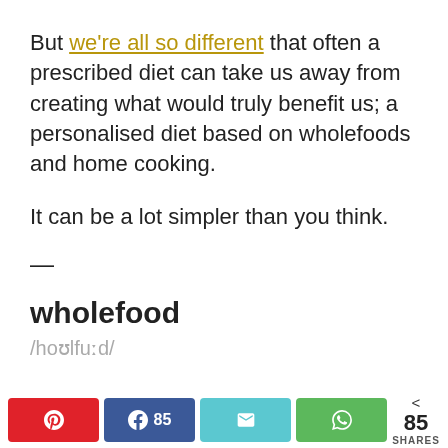But we're all so different that often a prescribed diet can take us away from creating what would truly benefit us; a personalised diet based on wholefoods and home cooking.
It can be a lot simpler than you think.
—
wholefood
/hoʊlfuːd/
Pinterest share | Facebook 85 shares | Email share | WhatsApp share | < 85 SHARES